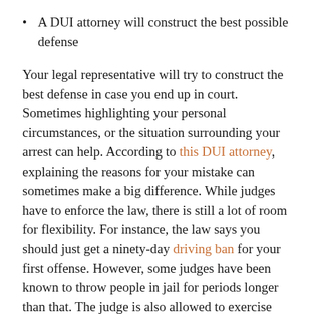A DUI attorney will construct the best possible defense
Your legal representative will try to construct the best defense in case you end up in court. Sometimes highlighting your personal circumstances, or the situation surrounding your arrest can help. According to this DUI attorney, explaining the reasons for your mistake can sometimes make a big difference. While judges have to enforce the law, there is still a lot of room for flexibility. For instance, the law says you should just get a ninety-day driving ban for your first offense. However, some judges have been known to throw people in jail for periods longer than that. The judge is also allowed to exercise discretion. That means you could come away with only a small fine and your license intact. DUI attorneys know how to make that happen.
A DUI attorney will file any complaints about the